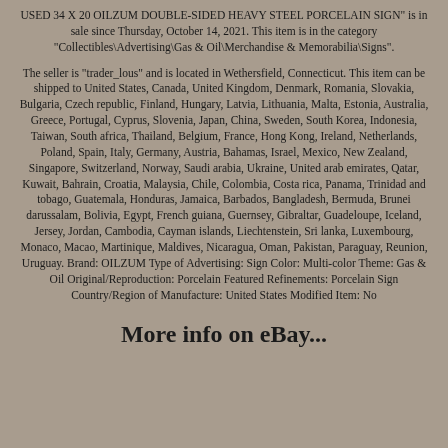USED 34 X 20 OILZUM DOUBLE-SIDED HEAVY STEEL PORCELAIN SIGN" is in sale since Thursday, October 14, 2021. This item is in the category "Collectibles\Advertising\Gas & Oil\Merchandise & Memorabilia\Signs".
The seller is "trader_lous" and is located in Wethersfield, Connecticut. This item can be shipped to United States, Canada, United Kingdom, Denmark, Romania, Slovakia, Bulgaria, Czech republic, Finland, Hungary, Latvia, Lithuania, Malta, Estonia, Australia, Greece, Portugal, Cyprus, Slovenia, Japan, China, Sweden, South Korea, Indonesia, Taiwan, South africa, Thailand, Belgium, France, Hong Kong, Ireland, Netherlands, Poland, Spain, Italy, Germany, Austria, Bahamas, Israel, Mexico, New Zealand, Singapore, Switzerland, Norway, Saudi arabia, Ukraine, United arab emirates, Qatar, Kuwait, Bahrain, Croatia, Malaysia, Chile, Colombia, Costa rica, Panama, Trinidad and tobago, Guatemala, Honduras, Jamaica, Barbados, Bangladesh, Bermuda, Brunei darussalam, Bolivia, Egypt, French guiana, Guernsey, Gibraltar, Guadeloupe, Iceland, Jersey, Jordan, Cambodia, Cayman islands, Liechtenstein, Sri lanka, Luxembourg, Monaco, Macao, Martinique, Maldives, Nicaragua, Oman, Pakistan, Paraguay, Reunion, Uruguay. Brand: OILZUM Type of Advertising: Sign Color: Multi-color Theme: Gas & Oil Original/Reproduction: Porcelain Featured Refinements: Porcelain Sign Country/Region of Manufacture: United States Modified Item: No
More info on eBay...